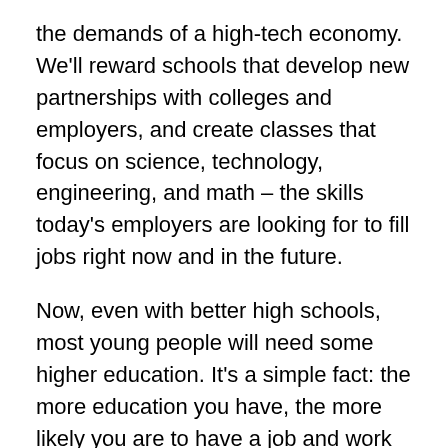the demands of a high-tech economy. We'll reward schools that develop new partnerships with colleges and employers, and create classes that focus on science, technology, engineering, and math – the skills today's employers are looking for to fill jobs right now and in the future.
Now, even with better high schools, most young people will need some higher education. It's a simple fact: the more education you have, the more likely you are to have a job and work your way into the middle class. But today, skyrocketing costs price way too many young people out of a higher education, or saddle them with unsustainable debt.
Through tax credits, grants, and better loans, we have made college more affordable for millions of students and